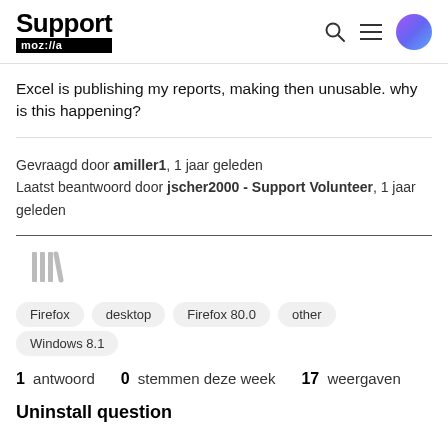Support mozilla // [search] [menu] [avatar]
Excel is publishing my reports, making then unusable. why is this happening?
Gevraagd door amiller1, 1 jaar geleden
Laatst beantwoord door jscher2000 - Support Volunteer, 1 jaar geleden
[Figure (other): Mozilla library / bookmark icon in gray]
Firefox  desktop  Firefox 80.0  other  Windows 8.1
1 antwoord  0 stemmen deze week  17 weergaven
Uninstall question